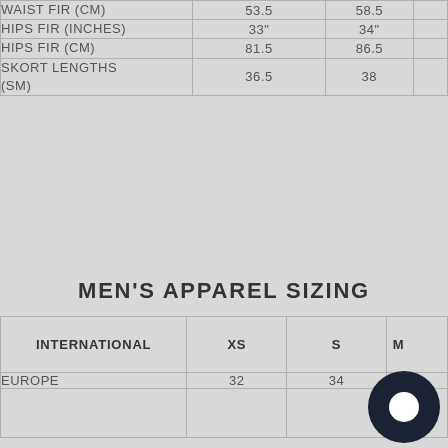|  | XS | S | M (cut off) |
| --- | --- | --- | --- |
| WAIST FIR (CM) | 53.5 | 58.5 |  |
| HIPS FIR (INCHES) | 33" | 34" |  |
| HIPS FIR (CM) | 81.5 | 86.5 |  |
| SKORT LENGTHS (SM) | 36.5 | 38 |  |
MEN'S APPAREL SIZING
| INTERNATIONAL | XS | S | M (cut off) |
| --- | --- | --- | --- |
| EUROPE | 32 | 34 |  |